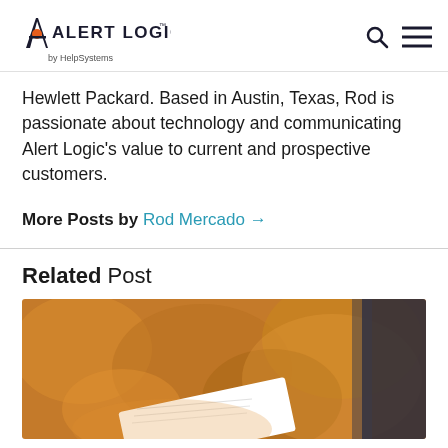Alert Logic by HelpSystems
Hewlett Packard. Based in Austin, Texas, Rod is passionate about technology and communicating Alert Logic’s value to current and prospective customers.
More Posts by Rod Mercado →
Related Post
[Figure (photo): Blurred photo of a person holding a document, with warm orange/brown bokeh background and a dark suit visible on the right.]